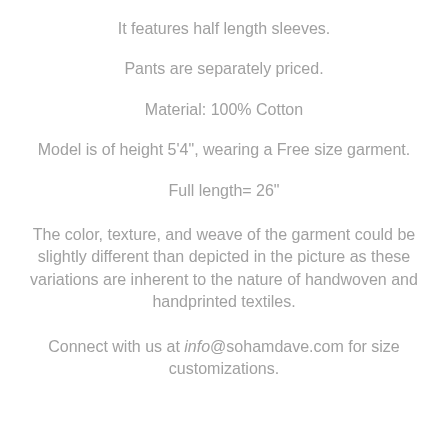It features half length sleeves.
Pants are separately priced.
Material: 100% Cotton
Model is of height 5'4", wearing a Free size garment.
Full length= 26"
The color, texture, and weave of the garment could be slightly different than depicted in the picture as these variations are inherent to the nature of handwoven and handprinted textiles.
Connect with us at info@sohamdave.com for size customizations.